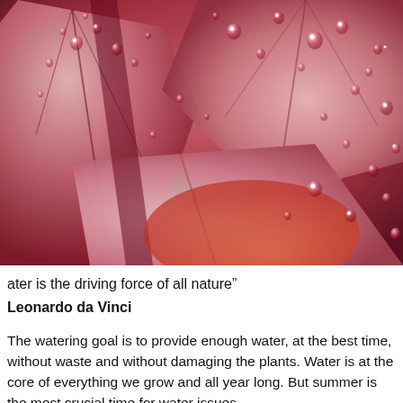[Figure (photo): Close-up macro photograph of red and pink leaves covered in water droplets, with dark green leaves in background. The water droplets are vivid and reflective against the reddish-pink leaf surfaces.]
ater is the driving force of all nature”
Leonardo da Vinci
The watering goal is to provide enough water, at the best time, without waste and without damaging the plants. Water is at the core of everything we grow and all year long. But summer is the most crucial time for water issues.